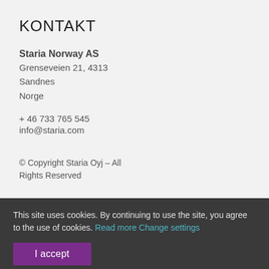KONTAKT
Staria Norway AS
Grensevein 21, 4313
Sandnes
Norge
+ 46 733 765 545
info@staria.com
© Copyright Staria Oyj – All Rights Reserved
This site uses cookies. By continuing to use the site, you agree to the use of cookies. Read more Change settings
I accept